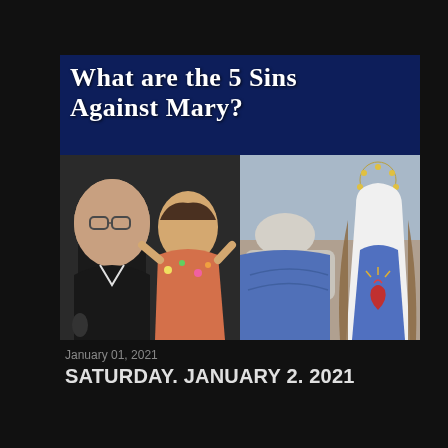[Figure (photo): Blog post thumbnail showing the title 'What are the 5 Sins Against Mary?' on a dark blue background with photos of a man with glasses, a woman in a floral outfit, a robed religious figure, and an illustration of the Virgin Mary with a halo]
January 01, 2021
SATURDAY, JANUARY 2, 2021
Share    Post a Comment